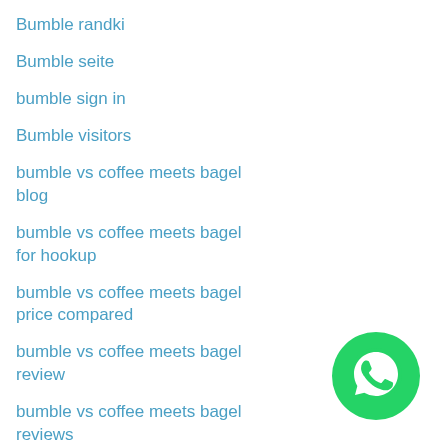Bumble randki
Bumble seite
bumble sign in
Bumble visitors
bumble vs coffee meets bagel blog
bumble vs coffee meets bagel for hookup
bumble vs coffee meets bagel price compared
bumble vs coffee meets bagel review
bumble vs coffee meets bagel reviews
bumble vs okcupid dating
bumble vs okcupid for men
bumble vs okcupid read more
[Figure (logo): WhatsApp green circle logo button in bottom right corner]